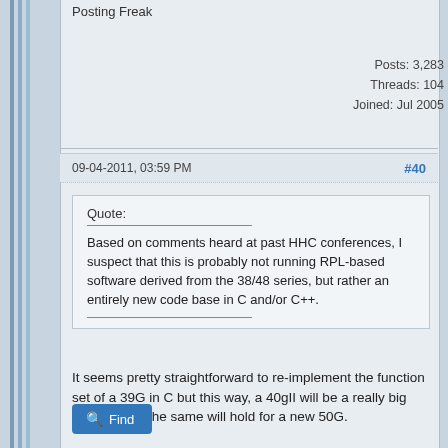Posting Freak
Posts: 3,283
Threads: 104
Joined: Jul 2005
09-04-2011, 03:59 PM
#40
Quote:
Based on comments heard at past HHC conferences, I suspect that this is probably not running RPL-based software derived from the 38/48 series, but rather an entirely new code base in C and/or C++.
It seems pretty straightforward to re-implement the function set of a 39G in C but this way, a 40gII will be a really big effort to do. The same will hold for a new 50G.
Find